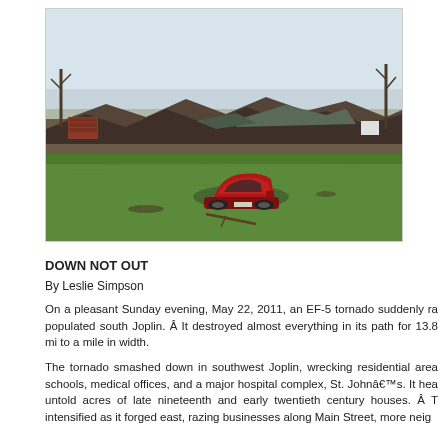[Figure (photo): Aerial ground-level view of tornado devastation in Joplin with a red car abandoned on green grass in the foreground and massive debris fields and destroyed structures in the background under a hazy sky.]
DOWN NOT OUT
By Leslie Simpson
On a pleasant Sunday evening, May 22, 2011, an EF-5 tornado suddenly ra populated south Joplin. Â  It destroyed almost everything in its path for 13.8 mi to a mile in width.
The tornado smashed down in southwest Joplin, wrecking residential area schools, medical offices, and a major hospital complex, St. Johnâ€™s. It hea untold acres of late nineteenth and early twentieth century houses.  Â  T intensified as it forged east, razing businesses along Main Street, more neig